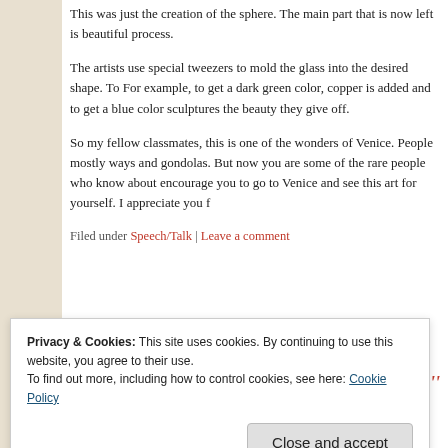This was just the creation of the sphere. The main part that is now left is bea... process.
The artists use special tweezers to mold the glass into the desired shape. To... For example, to get a dark green color, copper is added and to get a blue col... sculptures the beauty they give off.
So my fellow classmates, this is one of the wonders of Venice. People mostly... ways and gondolas. But now you are some of the rare people who know abo... encourage you to go to Venice and see this art for yourself. I appreciate you f...
Filed under Speech/Talk | Leave a comment
'A Journalistic Talk titled 'A Pa... Africa'' written by Koodanuth...
Privacy & Cookies: This site uses cookies. By continuing to use this website, you agree to their use. To find out more, including how to control cookies, see here: Cookie Policy